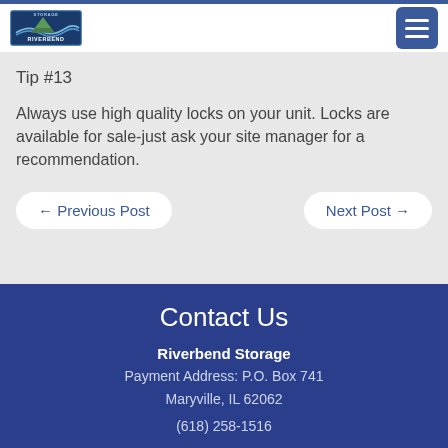Riverbend Storage
Tip #13
Always use high quality locks on your unit. Locks are available for sale-just ask your site manager for a recommendation.
← Previous Post
Next Post →
Contact Us
Riverbend Storage
Payment Address: P.O. Box 741
Maryville, IL 62062
(618) 258-1516